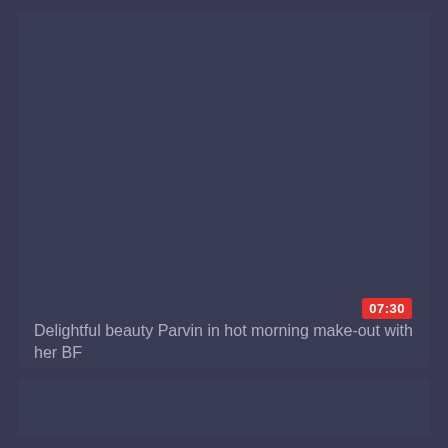[Figure (screenshot): Dark-themed video thumbnail card with dark navy/purple background, no visible image content in upper area]
07:30
Delightful beauty Parvin in hot morning make-out with her BF
[Figure (screenshot): Second dark-themed card below the title, similar dark navy/purple background]